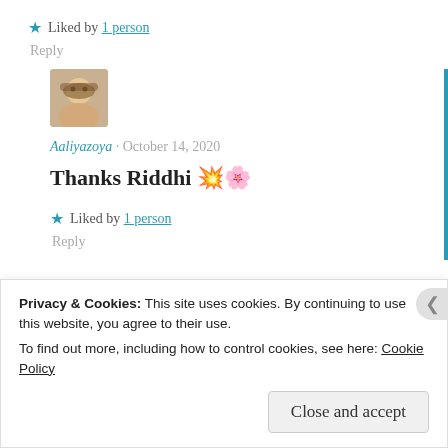★ Liked by 1 person
Reply
[Figure (photo): Avatar/profile picture of user Aaliyazoya]
Aaliyazoya · October 14, 2020
Thanks Riddhi 💐
★ Liked by 1 person
Reply
Privacy & Cookies: This site uses cookies. By continuing to use this website, you agree to their use.
To find out more, including how to control cookies, see here: Cookie Policy